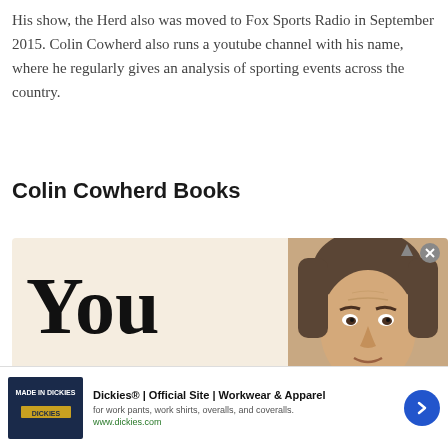His show, the Herd also was moved to Fox Sports Radio in September 2015. Colin Cowherd also runs a youtube channel with his name, where he regularly gives an analysis of sporting events across the country.
Colin Cowherd Books
[Figure (photo): Book cover image showing the word 'You' in large bold serif font on a cream/beige background, with a photo of Colin Cowherd (a middle-aged man with short brown/grey hair) on the right side.]
[Figure (infographic): Advertisement banner for Dickies showing logo, title 'Dickies® | Official Site | Workwear & Apparel', subtitle 'for work pants, work shirts, overalls, and coveralls.', URL 'www.dickies.com', and a blue circular arrow button.]